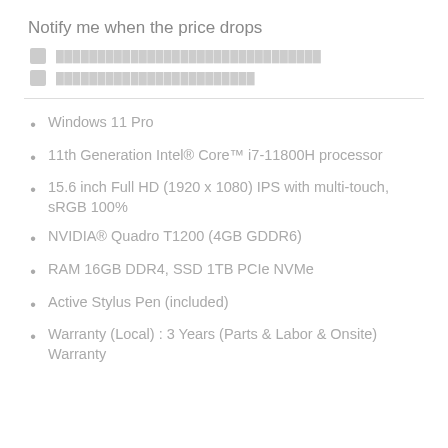Notify me when the price drops
████████████████████████████████
████████████████████████
Windows 11 Pro
11th Generation Intel® Core™ i7-11800H processor
15.6 inch Full HD (1920 x 1080) IPS with multi-touch, sRGB 100%
NVIDIA® Quadro T1200 (4GB GDDR6)
RAM 16GB DDR4, SSD 1TB PCIe NVMe
Active Stylus Pen (included)
Warranty (Local) : 3 Years (Parts & Labor & Onsite) Warranty